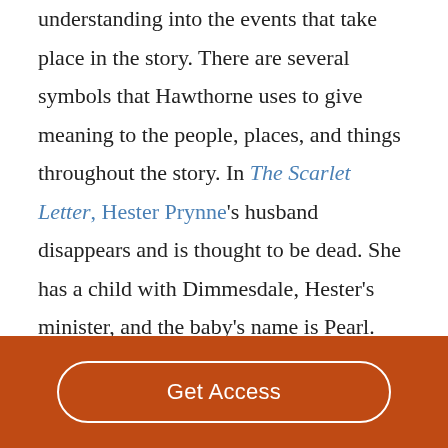understanding into the events that take place in the story. There are several symbols that Hawthorne uses to give meaning to the people, places, and things throughout the story. In The Scarlet Letter, Hester Prynne's husband disappears and is thought to be dead. She has a child with Dimmesdale, Hester's minister, and the baby's name is Pearl. The identity of the father is not revealed until later in the story. During Hester's public shaming for committing adultery,
Get Access